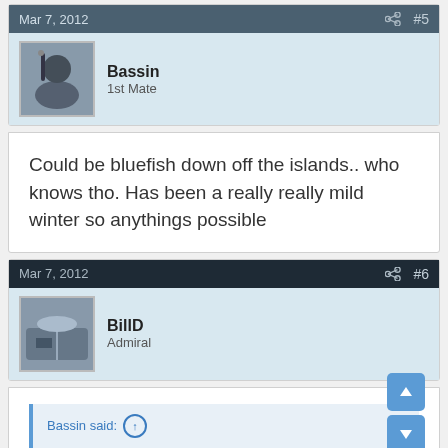Mar 7, 2012  #5
Bassin
1st Mate
Could be bluefish down off the islands.. who knows tho. Has been a really really mild winter so anythings possible
Mar 7, 2012  #6
BillD
Admiral
Bassin said: ↑
Could be bluefish down off the islands.. who knows tho. Has been a really really mild winter so anythings possible